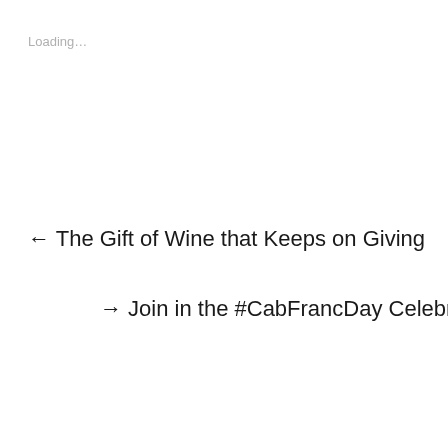Loading…
← The Gift of Wine that Keeps on Giving
→ Join in the #CabFrancDay Celebration